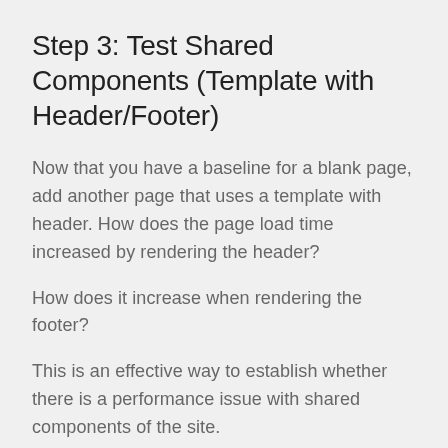Step 3: Test Shared Components (Template with Header/Footer)
Now that you have a baseline for a blank page, add another page that uses a template with header. How does the page load time increased by rendering the header?
How does it increase when rendering the footer?
This is an effective way to establish whether there is a performance issue with shared components of the site.
Step 4: Test a Suspect Page